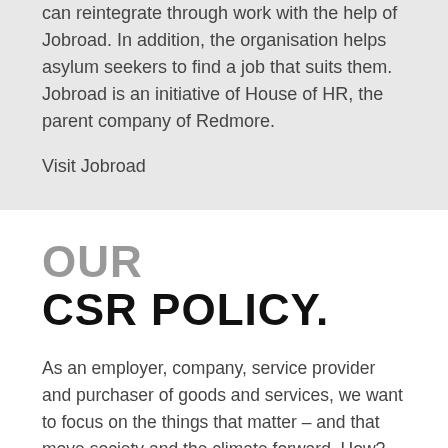People who have recently been released from prison can reintegrate through work with the help of Jobroad. In addition, the organisation helps asylum seekers to find a job that suits them. Jobroad is an initiative of House of HR, the parent company of Redmore.
Visit Jobroad
OUR CSR POLICY.
As an employer, company, service provider and purchaser of goods and services, we want to focus on the things that matter – and that move society and the climate forward. How? We are transparent about this. You can read about it in our CSR policy.